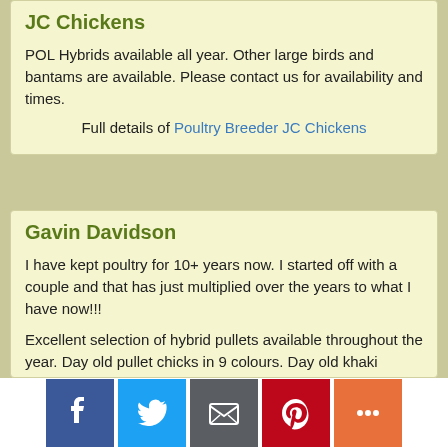JC Chickens
POL Hybrids available all year. Other large birds and bantams are available. Please contact us for availability and times.
Full details of Poultry Breeder JC Chickens
Gavin Davidson
I have kept poultry for 10+ years now. I started off with a couple and that has just multiplied over the years to what I have now!!!
Excellent selection of hybrid pullets available throughout the year. Day old pullet chicks in 9 colours. Day old khaki campbell females and
Social sharing bar: Facebook, Twitter, Email, Pinterest, More